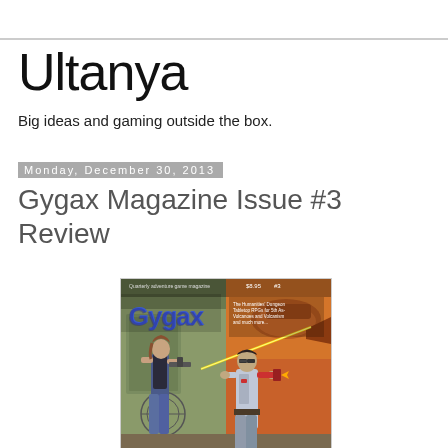Ultanya
Big ideas and gaming outside the box.
Monday, December 30, 2013
Gygax Magazine Issue #3 Review
[Figure (illustration): Cover of Gygax Magazine Issue #3 showing two sci-fi/adventure characters with weapons, priced $8.95, issue #3. The Gygax logo is displayed in blue stylized lettering. Text reads 'Quarterly adventure game magazine'.]